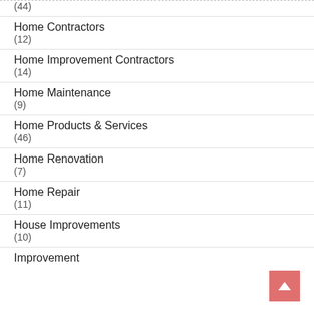(44)
Home Contractors
(12)
Home Improvement Contractors
(14)
Home Maintenance
(9)
Home Products & Services
(46)
Home Renovation
(7)
Home Repair
(11)
House Improvements
(10)
Improvement